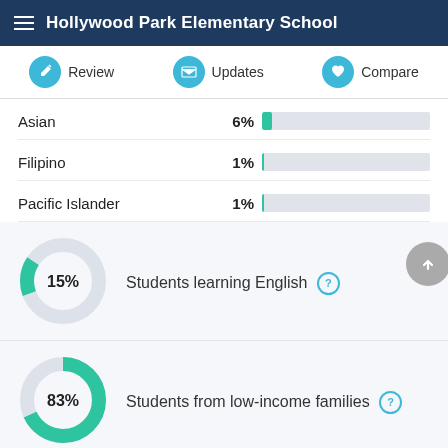Hollywood Park Elementary School
Review | Updates | Compare
Asian 6%
Filipino 1%
Pacific Islander 1%
[Figure (donut-chart): Students learning English]
Students learning English
[Figure (donut-chart): Students from low-income families]
Students from low-income families
[Figure (pie-chart): Gender]
Gender